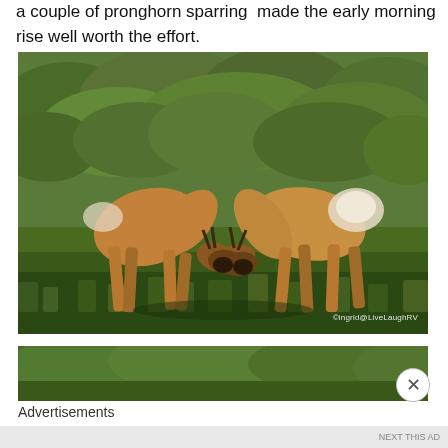a couple of pronghorn sparring made the early morning rise well worth the effort.
[Figure (photo): Two pronghorn antelope sparring with heads locked together in a grassy field with sagebrush in the background. Watermark reads ©ingrid@LiveLaughRV]
[Figure (photo): Partial view of a second photo showing green shrubby vegetation, partially obscured by an advertisement overlay with a close button.]
Advertisements